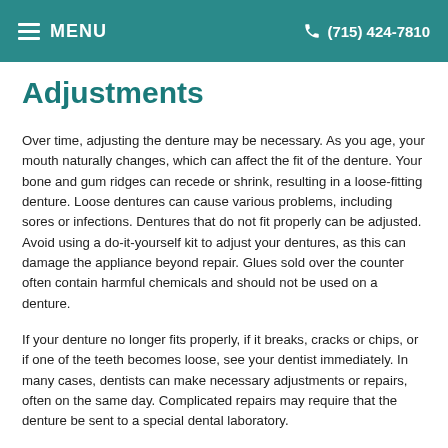MENU  (715) 424-7810
Adjustments
Over time, adjusting the denture may be necessary. As you age, your mouth naturally changes, which can affect the fit of the denture. Your bone and gum ridges can recede or shrink, resulting in a loose-fitting denture. Loose dentures can cause various problems, including sores or infections. Dentures that do not fit properly can be adjusted. Avoid using a do-it-yourself kit to adjust your dentures, as this can damage the appliance beyond repair. Glues sold over the counter often contain harmful chemicals and should not be used on a denture.
If your denture no longer fits properly, if it breaks, cracks or chips, or if one of the teeth becomes loose, see your dentist immediately. In many cases, dentists can make necessary adjustments or repairs, often on the same day. Complicated repairs may require that the denture be sent to a special dental laboratory.